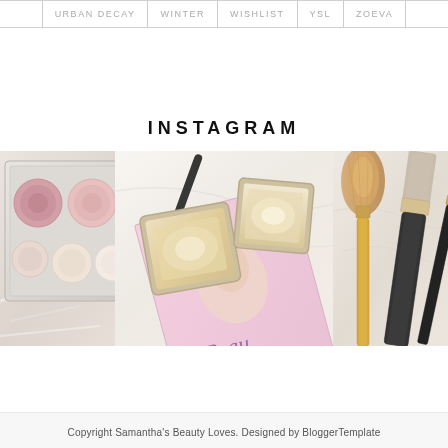URBAN DECAY  WINTER  WISHLIST  YSL  ZOEVA
INSTAGRAM
[Figure (photo): Three Instagram-style beauty photos in a horizontal strip: left shows a blush/eyeshadow palette with pink and nude pans; center shows a gold highlighter compact on a magazine; right shows makeup brushes on a marble surface.]
Copyright Samantha's Beauty Loves. Designed by BloggerTemplate